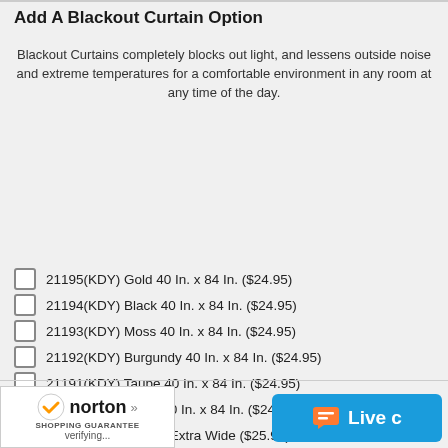Add A Blackout Curtain Option
Blackout Curtains completely blocks out light, and lessens outside noise and extreme temperatures for a comfortable environment in any room at any time of the day.
21195(KDY) Gold 40 In. x 84 In. ($24.95)
21194(KDY) Black 40 In. x 84 In. ($24.95)
21193(KDY) Moss 40 In. x 84 In. ($24.95)
21192(KDY) Burgundy 40 In. x 84 In. ($24.95)
21191(KDY) Taupe 40 In. x 84 In. ($24.95)
21190(KDY) Beige 40 In. x 84 In. ($24.95)
White 56 In. x 84 In. Extra Wide ($25.95)
Wardrobe Selection
[Figure (logo): Norton Shopping Guarantee badge with checkmark, verifying...]
[Figure (screenshot): Live chat button in blue]